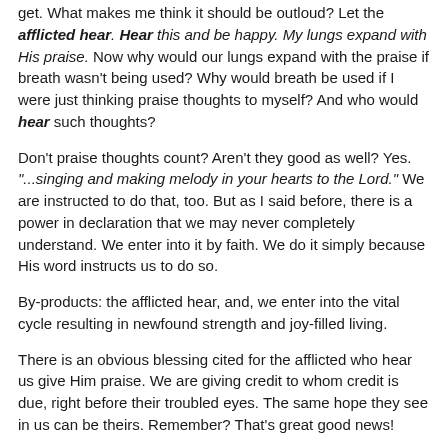get. What makes me think it should be outloud? Let the afflicted hear. Hear this and be happy. My lungs expand with His praise. Now why would our lungs expand with the praise if breath wasn't being used? Why would breath be used if I were just thinking praise thoughts to myself? And who would hear such thoughts?
Don't praise thoughts count? Aren't they good as well? Yes. "...singing and making melody in your hearts to the Lord." We are instructed to do that, too. But as I said before, there is a power in declaration that we may never completely understand. We enter into it by faith. We do it simply because His word instructs us to do so.
By-products: the afflicted hear, and, we enter into the vital cycle resulting in newfound strength and joy-filled living.
There is an obvious blessing cited for the afflicted who hear us give Him praise. We are giving credit to whom credit is due, right before their troubled eyes. The same hope they see in us can be theirs. Remember? That's great good news!
Sometimes we come across bits and pieces of this, not by design...